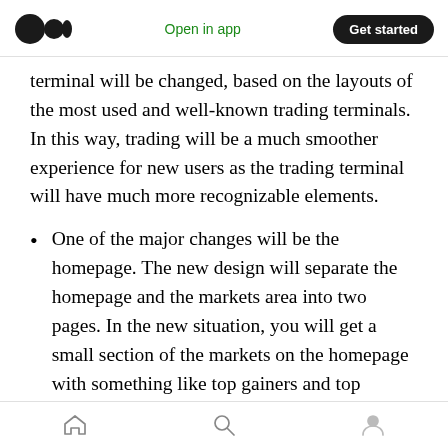Open in app | Get started
terminal will be changed, based on the layouts of the most used and well-known trading terminals. In this way, trading will be a much smoother experience for new users as the trading terminal will have much more recognizable elements.
One of the major changes will be the homepage. The new design will separate the homepage and the markets area into two pages. In the new situation, you will get a small section of the markets on the homepage with something like top gainers and top
Home | Search | Profile